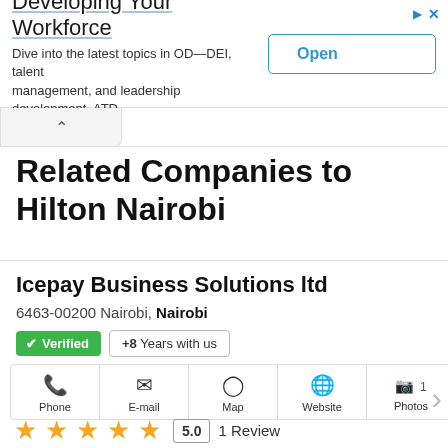[Figure (infographic): Advertisement banner: 'Developing Your Workforce' — Dive into the latest topics in OD—DEI, talent management, and leadership development. ATD. With an Open button.]
Related Companies to Hilton Nairobi
Icepay Business Solutions ltd
6463-00200 Nairobi, Nairobi
✔ Verified  +8  Years with us
Phone  E-mail  Map  Website  1 Photos  3 Products
★★★★★  5.0  1 Review